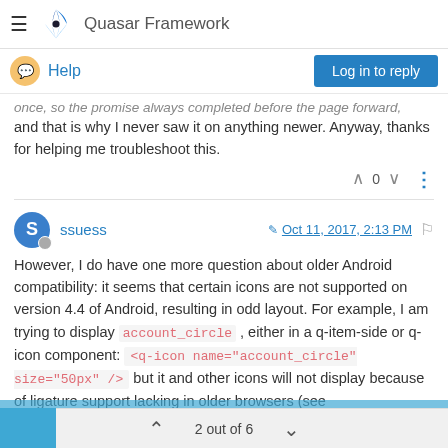Quasar Framework
Help | Log in to reply
once, so the promise always completed before the page forward, and that is why I never saw it on anything newer. Anyway, thanks for helping me troubleshoot this.
0
ssuess  Oct 11, 2017, 2:13 PM
However, I do have one more question about older Android compatibility: it seems that certain icons are not supported on version 4.4 of Android, resulting in odd layout. For example, I am trying to display account_circle , either in a q-item-side or q-icon component: <q-icon name="account_circle" size="50px" /> but it and other icons will not display because of ligature support lacking in older browsers (see
2 out of 6